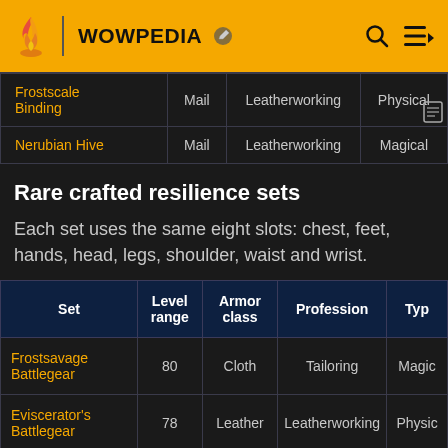WOWPEDIA
| Set | Armor class | Profession | Type |
| --- | --- | --- | --- |
| Frostscale Binding | Mail | Leatherworking | Physical |
| Nerubian Hive | Mail | Leatherworking | Magical |
Rare crafted resilience sets
Each set uses the same eight slots: chest, feet, hands, head, legs, shoulder, waist and wrist.
| Set | Level range | Armor class | Profession | Type |
| --- | --- | --- | --- | --- |
| Frostsavage Battlegear | 80 | Cloth | Tailoring | Magical |
| Eviscerator's Battlegear | 78 | Leather | Leatherworking | Physical |